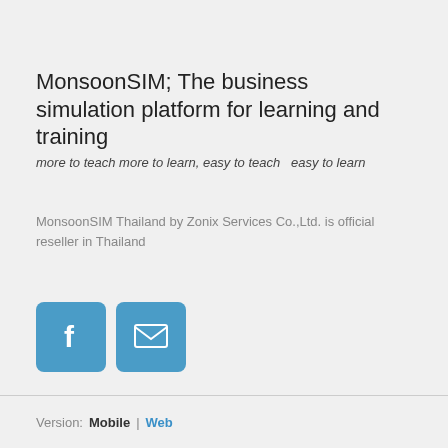MonsoonSIM; The business simulation platform for learning and training
more to teach more to learn, easy to teach  easy to learn
MonsoonSIM Thailand by Zonix Services Co.,Ltd. is official reseller in Thailand
[Figure (logo): Facebook icon button (blue rounded square with white 'f' logo) and email/envelope icon button (blue rounded square with white envelope icon)]
Version:  Mobile | Web